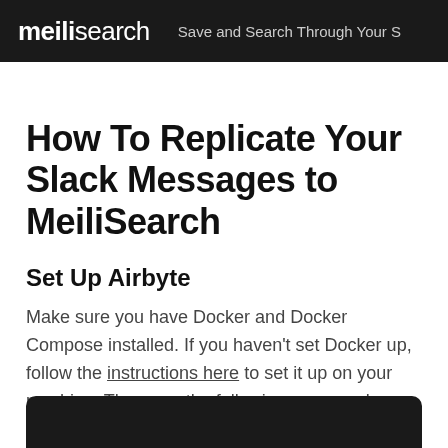meilisearch  Save and Search Through Your S
How To Replicate Your Slack Messages to MeiliSearch
Set Up Airbyte
Make sure you have Docker and Docker Compose installed. If you haven't set Docker up, follow the instructions here to set it up on your machine. Then, run the following commands:
[Figure (screenshot): Dark code block area at the bottom of the page]